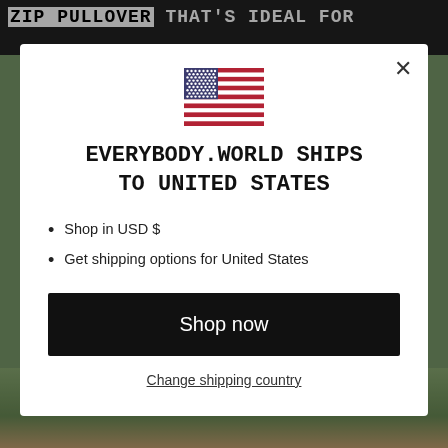ZIP PULLOVER THAT'S IDEAL FOR LAYERING
[Figure (illustration): US flag icon in a modal dialog]
EVERYBODY.WORLD SHIPS TO UNITED STATES
Shop in USD $
Get shipping options for United States
Shop now
Change shipping country